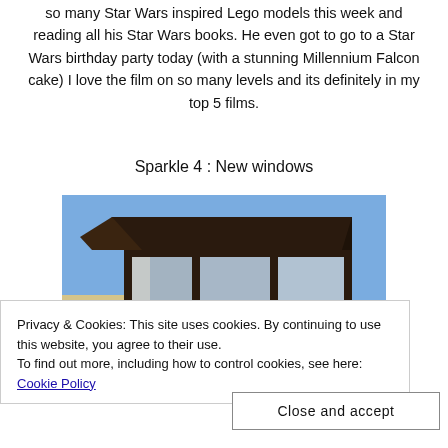so many Star Wars inspired Lego models this week and reading all his Star Wars books. He even got to go to a Star Wars birthday party today (with a stunning Millennium Falcon cake) I love the film on so many levels and its definitely in my top 5 films.
Sparkle 4 : New windows
[Figure (photo): Exterior photo of a bay window with dark brown frames on a cream/yellow building, blue sky in background]
Privacy & Cookies: This site uses cookies. By continuing to use this website, you agree to their use.
To find out more, including how to control cookies, see here: Cookie Policy
Close and accept